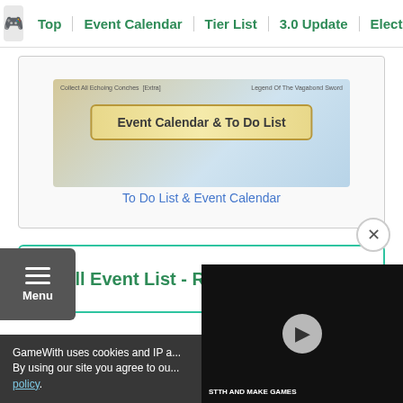Top | Event Calendar | Tier List | 3.0 Update | Electro...
[Figure (screenshot): Event Calendar & To Do List game interface screenshot]
To Do List & Event Calendar
All Event List - Rewards & Guide
Sponsored Link
Menu
[Figure (screenshot): Video thumbnail showing a person, with play button overlay and 'STTH AND MAKE GAMES' text]
GameWith uses cookies and IP a...
By using our site you agree to ou...
policy.